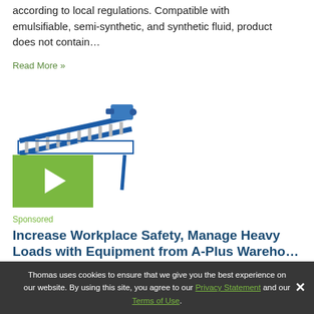according to local regulations. Compatible with emulsifiable, semi-synthetic, and synthetic fluid, product does not contain…
Read More »
[Figure (photo): Blue industrial roller conveyor with motor, shown at an angle, with a green video play button overlay in the lower-left corner]
Sponsored
Increase Workplace Safety, Manage Heavy Loads with Equipment from A-Plus Warehousing…
Thomas uses cookies to ensure that we give you the best experience on our website. By using this site, you agree to our Privacy Statement and our Terms of Use.